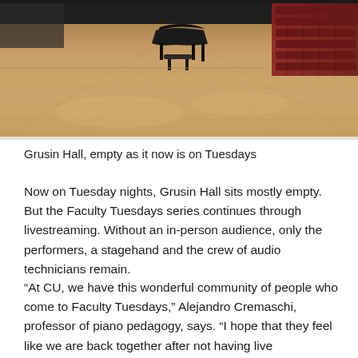[Figure (photo): Grusin Hall interior showing an empty wooden stage with a grand piano and bench, red theater seats visible on the right side]
Grusin Hall, empty as it now is on Tuesdays
Now on Tuesday nights, Grusin Hall sits mostly empty. But the Faculty Tuesdays series continues through livestreaming. Without an in-person audience, only the performers, a stagehand and the crew of audio technicians remain.
“At CU, we have this wonderful community of people who come to Faculty Tuesdays,” Alejandro Cremaschi, professor of piano pedagogy, says. “I hope that they feel like we are back together after not having live performances for a while. It’s not perfect, but it’s better than not having anything.”